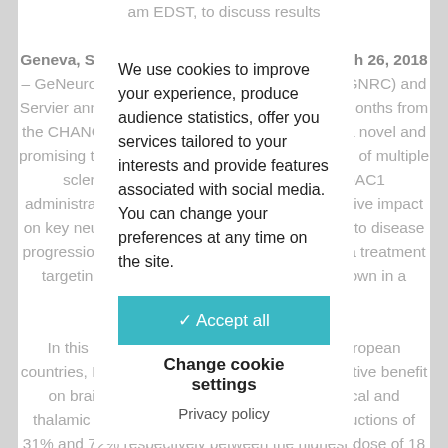am EDST, to discuss results Geneva, Switzerland, and Paris, France, March 26, 2018 – GeNeuro (Euronext Paris: CHU308403085 – GNRC) and Servier announced today positive results at 12 months from the CHANGE-MS Phase 2b study of GNbAC1, a novel and promising therapeutic approach for the treatment of multiple sclerosis (MS). The data showed that GNbAC1 administration had a significant, consistent positive impact on key neuroprotection links known to be linked to disease progression, for the first time that the benefit of a treatment targeting endogenous retrovirus protein is shown in a clinical trial. In this 270-patient study, conducted in 12 European countries, MRI showed a consistent neuroprotective benefit on brain atrophy. Benefits were seen in cortical and thalamic atrophy, with relative volume loss reductions of 31% and 72% respectively between the highest dose of 18 mg/kg and control
We use cookies to improve your experience, produce audience statistics, offer you services tailored to your interests and provide features associated with social media. You can change your preferences at any time on the site.
✓ Accept all
Change cookie settings
Privacy policy